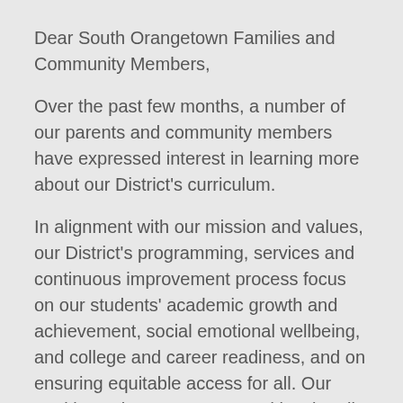Dear South Orangetown Families and Community Members,
Over the past few months, a number of our parents and community members have expressed interest in learning more about our District's curriculum.
In alignment with our mission and values, our District's programming, services and continuous improvement process focus on our students' academic growth and achievement, social emotional wellbeing, and college and career readiness, and on ensuring equitable access for all. Our goal is to elevate, engage and inspire all of our nearly 3,000 K-12 students to